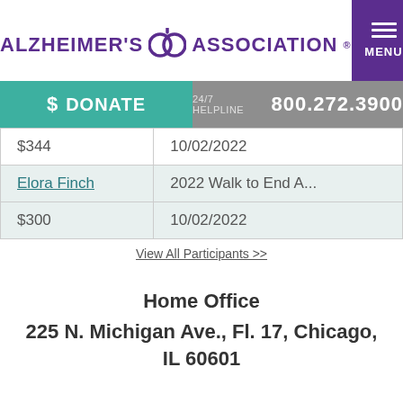ALZHEIMER'S ASSOCIATION
| $344 | 10/02/2022 |
| Elora Finch | 2022 Walk to End A... |
| $300 | 10/02/2022 |
View All Participants >>
Home Office
225 N. Michigan Ave., Fl. 17, Chicago, IL 60601